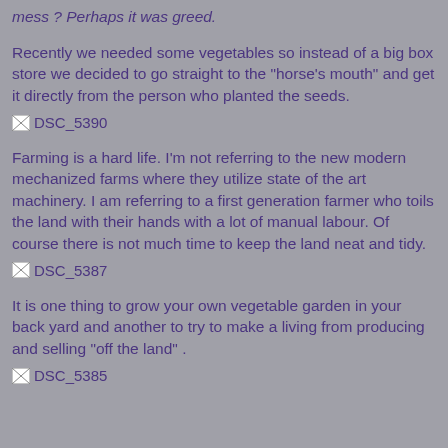mess ? Perhaps it was greed.
Recently we needed some vegetables so instead of a big box store we decided to go straight to the "horse's mouth" and get it directly from the person who planted the seeds.
[Figure (photo): Broken/missing image placeholder labeled DSC_5390]
Farming is a hard life. I'm not referring to the new modern mechanized farms where they utilize state of the art machinery. I am referring to a first generation farmer who toils the land with their hands with a lot of manual labour. Of course there is not much time to keep the land neat and tidy.
[Figure (photo): Broken/missing image placeholder labeled DSC_5387]
It is one thing to grow your own vegetable garden in your back yard and another to try to make a living from producing and selling "off the land" .
[Figure (photo): Broken/missing image placeholder labeled DSC_5385]